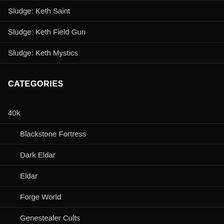Sludge: Keth Saint
Sludge: Keth Field Gun
Sludge: Keth Mystics
CATEGORIES
40k
Blackstone Fortress
Dark Eldar
Eldar
Forge World
Genestealer Cults
Inquisition War